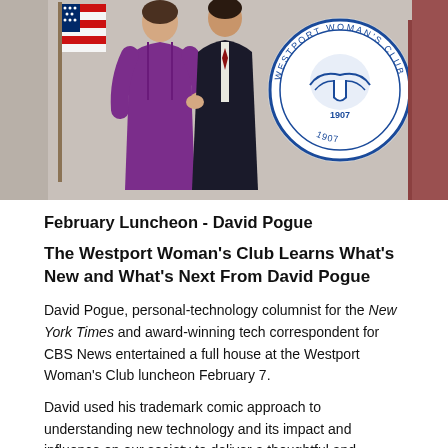[Figure (photo): Photo showing two people posing together (one in purple), an American flag on the left, and the Westport Woman's Club circular seal/logo (dated 1907) on the right side of the image.]
February Luncheon - David Pogue
The Westport Woman's Club Learns What's New and What's Next From David Pogue
David Pogue, personal-technology columnist for the New York Times and award-winning tech correspondent for CBS News entertained a full house at the Westport Woman's Club luncheon February 7.
David used his trademark comic approach to understanding new technology and its impact and influence on our society to deliver a thoughtful and entertaining presentation.  His hilarious insights